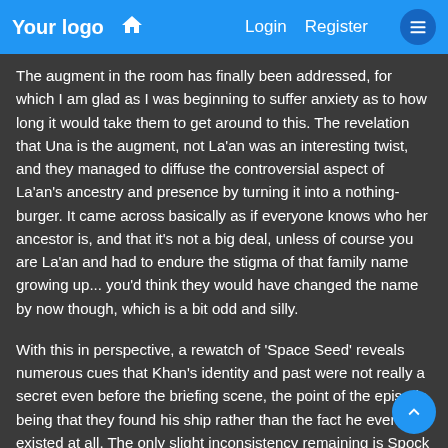Your logo   🏠   Login   Register   ☰
The augment in the room has finally been addressed, for which I am glad as I was beginning to suffer anxiety as to how long it would take them to get around to this. The revelation that Una is the augment, not La'an was an interesting twist, and they managed to diffuse the controversial aspect of La'an's ancestry and presence by turning it into a nothing-burger. It came across basically as if everyone knows who her ancestor is, and that it's not a big deal, unless of course you are La'an and had to endure the stigma of that family name growing up... you'd think they would have changed the name by now though, which is a bit odd and silly.
With this in perspective, a rewatch of 'Space Seed' reveals numerous cues that Khan's identity and past were not really a secret even before the briefing scene, the point of the episode being that they found his ship rather than the fact he even existed at all. The only slight inconsistency remaining is Spock making mention of La'an to Kirk or even Khan, though as she is now revealed to not be genetically-enhanced, it feels like a